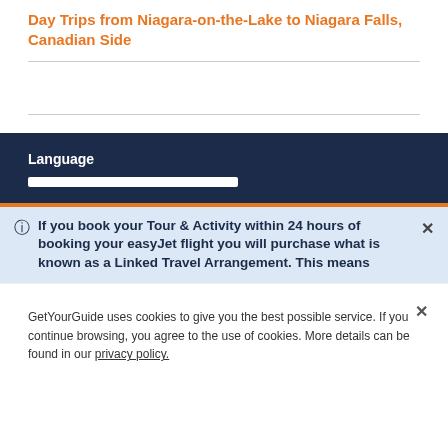Day Trips from Niagara-on-the-Lake to Niagara Falls, Canadian Side
Language
If you book your Tour & Activity within 24 hours of booking your easyJet flight you will purchase what is known as a Linked Travel Arrangement. This means
GetYourGuide uses cookies to give you the best possible service. If you continue browsing, you agree to the use of cookies. More details can be found in our privacy policy.